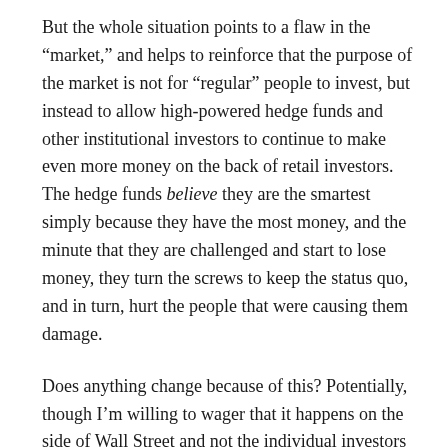But the whole situation points to a flaw in the “market,” and helps to reinforce that the purpose of the market is not for “regular” people to invest, but instead to allow high-powered hedge funds and other institutional investors to continue to make even more money on the back of retail investors. The hedge funds believe they are the smartest simply because they have the most money, and the minute that they are challenged and start to lose money, they turn the screws to keep the status quo, and in turn, hurt the people that were causing them damage.
Does anything change because of this? Potentially, though I’m willing to wager that it happens on the side of Wall Street and not the individual investors affected. The big institutions have already all but shut down the